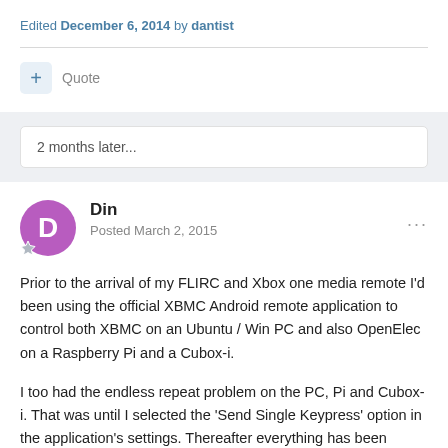Edited December 6, 2014 by dantist
Quote
2 months later...
Din
Posted March 2, 2015
Prior to the arrival of my FLIRC and Xbox one media remote I'd been using the official XBMC Android remote application to control both XBMC on an Ubuntu / Win PC and also OpenElec on a Raspberry Pi and a Cubox-i.
I too had the endless repeat problem on the PC, Pi and Cubox-i. That was until I selected the 'Send Single Keypress' option in the application's settings. Thereafter everything has been smooth